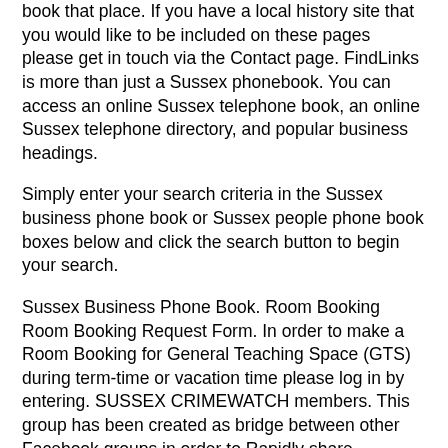book that place. If you have a local history site that you would like to be included on these pages please get in touch via the Contact page. FindLinks is more than just a Sussex phonebook. You can access an online Sussex telephone book, an online Sussex telephone directory, and popular business headings.
Simply enter your search criteria in the Sussex business phone book or Sussex people phone book boxes below and click the search button to begin your search.
Sussex Business Phone Book. Room Booking Room Booking Request Form. In order to make a Room Booking for General Teaching Space (GTS) during term-time or vacation time please log in by entering. SUSSEX CRIMEWATCH members. This group has been created as bridge between other Facebook groups in order to Rapidly share information on local.
Main Street, Newton, NJ Phone: Fax: Monday & Wednesday. am - pm. Tuesday, Thursday, & Friday. Rd., Cambridge, MD.